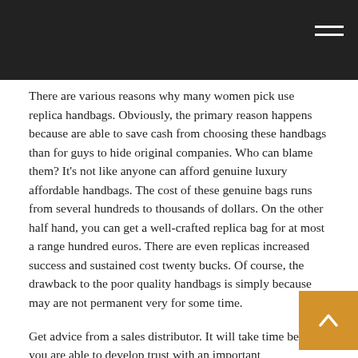There are various reasons why many women pick use replica handbags. Obviously, the primary reason happens because are able to save cash from choosing these handbags than for guys to hide original companies. Who can blame them? It’s not like anyone can afford genuine luxury affordable handbags. The cost of these genuine bags runs from several hundreds to thousands of dollars. On the other half hand, you can get a well-crafted replica bag for at most a range hundred euros. There are even replicas increased success and sustained cost twenty bucks. Of course, the drawback to the poor quality handbags is simply because may are not permanent very for some time.
Get advice from a sales distributor. It will take time before you are able to develop trust with an important representative. Become … find out